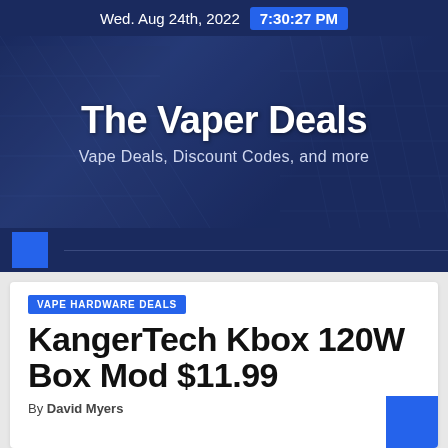Wed. Aug 24th, 2022  7:30:27 PM
The Vaper Deals
Vape Deals, Discount Codes, and more
VAPE HARDWARE DEALS
KangerTech Kbox 120W Box Mod $11.99
By David Myers